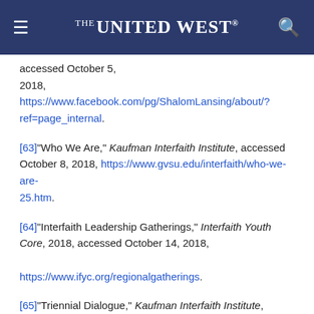THE UNITED WEST
accessed October 5, 2018, https://www.facebook.com/pg/ShalomLansing/about/?ref=page_internal.
[63]"Who We Are," Kaufman Interfaith Institute, accessed October 8, 2018, https://www.gvsu.edu/interfaith/who-we-are-25.htm.
[64]"Interfaith Leadership Gatherings," Interfaith Youth Core, 2018, accessed October 14, 2018, https://www.ifyc.org/regionalgatherings.
[65]"Triennial Dialogue," Kaufman Interfaith Institute, accessed October 8,